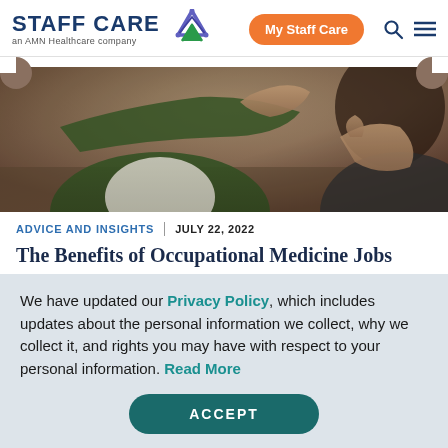STAFF CARE – an AMN Healthcare company | My Staff Care
[Figure (photo): Photo of medical professionals gesturing with hands in an office or clinical setting]
ADVICE AND INSIGHTS | JULY 22, 2022
The Benefits of Occupational Medicine Jobs
Physicians in occupational medicine jobs have been
We have updated our Privacy Policy, which includes updates about the personal information we collect, why we collect it, and rights you may have with respect to your personal information. Read More
ACCEPT